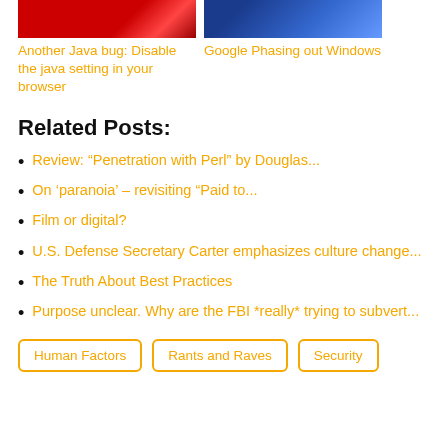[Figure (photo): Red image (Java bug article thumbnail)]
Another Java bug: Disable the java setting in your browser
[Figure (photo): Blue image (Google Phasing out Windows article thumbnail)]
Google Phasing out Windows
Related Posts:
Review: “Penetration with Perl” by Douglas...
On ‘paranoia’ – revisiting “Paid to...
Film or digital?
U.S. Defense Secretary Carter emphasizes culture change...
The Truth About Best Practices
Purpose unclear. Why are the FBI *really* trying to subvert...
Human Factors  Rants and Raves  Security